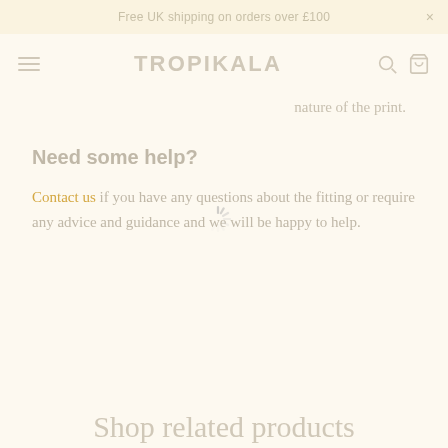Free UK shipping on orders over £100
TROPIKALA
nature of the print.
Need some help?
Contact us if you have any questions about the fitting or require any advice and guidance and we will be happy to help.
Shop related products